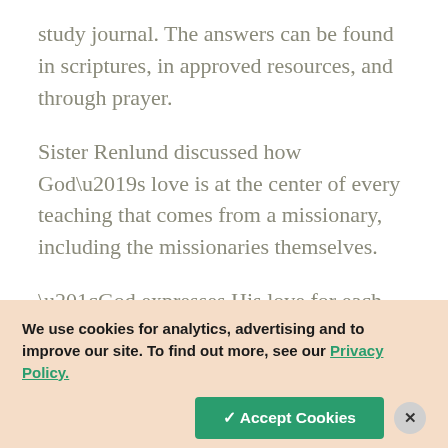study journal. The answers can be found in scriptures, in approved resources, and through prayer.
Sister Renlund discussed how God's love is at the center of every teaching that comes from a missionary, including the missionaries themselves.
“God expresses His love for each person on earth by sending personal emissaries into the world to find ‘the one’ who is ready to receive
We use cookies for analytics, advertising and to improve our site. To find out more, see our Privacy Policy.